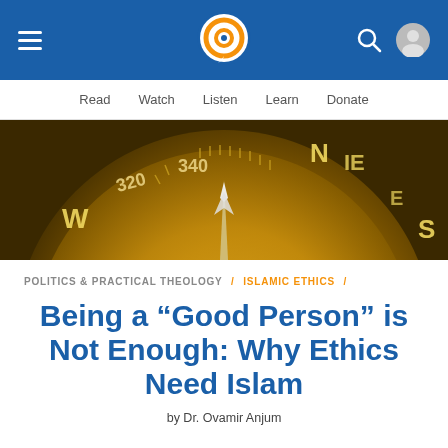Navigation bar with hamburger menu, logo, search and user icons
Read  Watch  Listen  Learn  Donate
[Figure (photo): Close-up golden compass showing directions N, W, S and degree markings 320, 340 with compass needle pointing north]
POLITICS & PRACTICAL THEOLOGY / ISLAMIC ETHICS /
Being a “Good Person” is Not Enough: Why Ethics Need Islam
by Dr. Ovamir Anjum